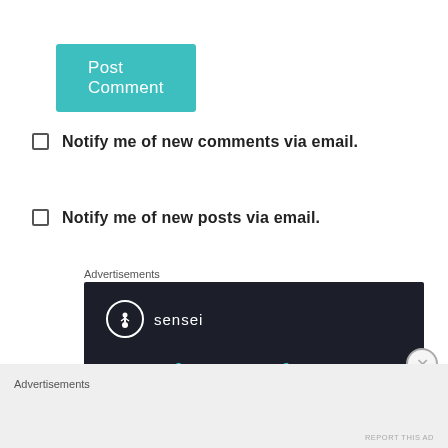Post Comment
Notify me of new comments via email.
Notify me of new posts via email.
Advertisements
[Figure (illustration): Sensei advertisement banner on dark background. Sensei logo (circle with tree icon) and name 'sensei' in white. Headline: 'Launch your online course with WordPress' in teal/green color. A 'Learn More' button in teal at the bottom.]
Advertisements
REPORT THIS AD